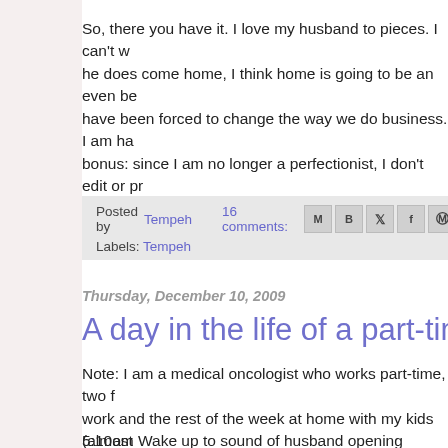So, there you have it. I love my husband to pieces. I can't w... he does come home, I think home is going to be an even be... have been forced to change the way we do business. I am ha... bonus: since I am no longer a perfectionist, I don't edit or pr... means I am finally posting again, too.
Posted by Tempeh   16 comments:   [share icons]
Labels: Tempeh
Thursday, December 10, 2009
A day in the life of a part-time medi...
Note: I am a medical oncologist who works part-time, two f... work and the rest of the week at home with my kids (almost... part-time nanny who comes on my 3 workdays. This is my b... captures a little bit of both of my worlds.
5:10am Wake up to sound of husband opening drawers as h...